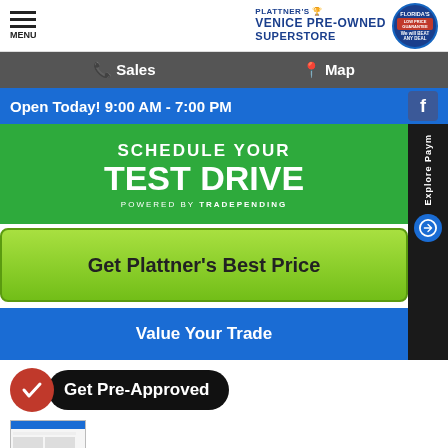MENU | PLATTNER'S VENICE PRE-OWNED SUPERSTORE | FLORIDA'S LOW PRICE GUARANTEE We will BEAT ANY DEAL
Sales   Map
Open Today! 9:00 AM - 7:00 PM
[Figure (screenshot): Schedule Your Test Drive banner (green background) powered by TradePending]
Get Plattner's Best Price
Value Your Trade
Get Pre-Approved
[Figure (screenshot): Document thumbnail image]
Value Your Trade